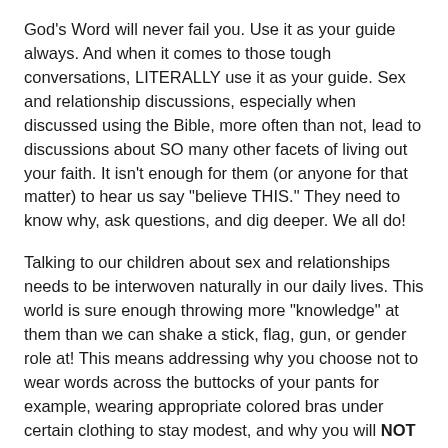God's Word will never fail you. Use it as your guide always. And when it comes to those tough conversations, LITERALLY use it as your guide. Sex and relationship discussions, especially when discussed using the Bible, more often than not, lead to discussions about SO many other facets of living out your faith. It isn't enough for them (or anyone for that matter) to hear us say "believe THIS." They need to know why, ask questions, and dig deeper. We all do!
Talking to our children about sex and relationships needs to be interwoven naturally in our daily lives. This world is sure enough throwing more "knowledge" at them than we can shake a stick, flag, gun, or gender role at! This means addressing why you choose not to wear words across the buttocks of your pants for example, wearing appropriate colored bras under certain clothing to stay modest, and why you will NOT be purchasing thongs for your daughter in middle school. You get the point . . . .
We have to wake up and realize that being overwhelmed and unsure of how to even approach some of these topics